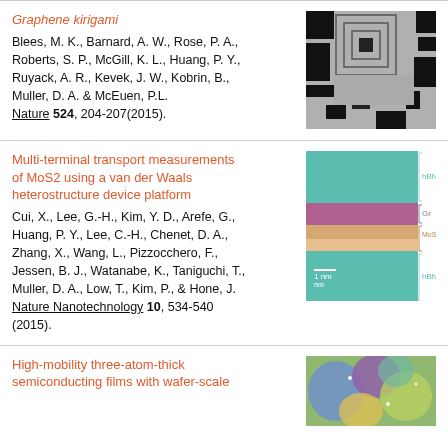Graphene kirigami
Blees, M. K., Barnard, A. W., Rose, P. A., Roberts, S. P., McGill, K. L., Huang, P. Y., Ruyack, A. R., Kevek, J. W., Kobrin, B., Muller, D. A. & McEuen, P.L.
Nature 524, 204-207(2015).
[Figure (photo): SEM image of graphene kirigami structure showing concentric square patterns and rectangular cut features on a grey background]
Multi-terminal transport measurements of MoS2 using a van der Waals heterostructure device platform
Cui, X., Lee, G.-H., Kim, Y. D., Arefe, G., Huang, P. Y., Lee, C.-H., Chenet, D. A., Zhang, X., Wang, L., Pizzocchero, F., Jessen, B. J., Watanabe, K., Taniguchi, T., Muller, D. A., Low, T., Kim, P., & Hone, J.
Nature Nanotechnology 10, 534-540 (2015).
[Figure (photo): Cross-section TEM image of MoS2 van der Waals heterostructure showing teal (hBN), purple (Gr), orange (MoS2), and teal (hBN) layers with 1nm scale bar]
High-mobility three-atom-thick semiconducting films with wafer-scale
[Figure (photo): Colorful optical microscope image of a semiconductor film showing blue, purple, yellow, and green regions]